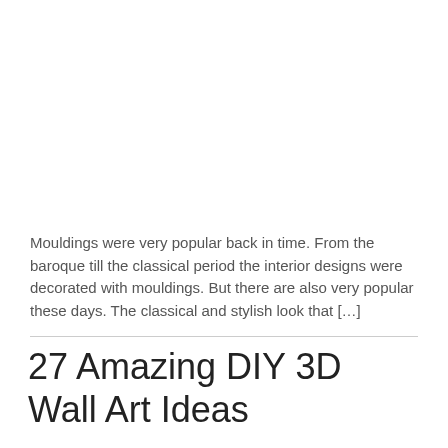Mouldings were very popular back in time. From the baroque till the classical period the interior designs were decorated with mouldings. But there are also very popular these days. The classical and stylish look that […]
27 Amazing DIY 3D Wall Art Ideas